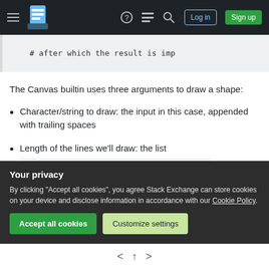Stack Exchange navigation bar with hamburger menu, logo, help, chat, search, Log in, Sign up buttons
# after which the result is imp
The Canvas builtin uses three arguments to draw a shape:
Character/string to draw: the input in this case, appended with trailing spaces
Length of the lines we'll draw: the list [2,4,3,4,8,5,6,12,7,8,16,9,10,20,11,...]
Your privacy
By clicking "Accept all cookies", you agree Stack Exchange can store cookies on your device and disclose information in accordance with our Cookie Policy.